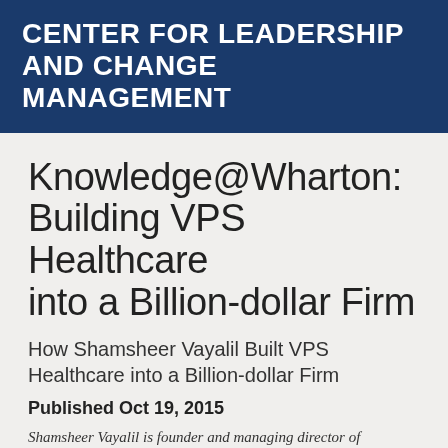CENTER FOR LEADERSHIP AND CHANGE MANAGEMENT
Knowledge@Wharton: Building VPS Healthcare into a Billion-dollar Firm
How Shamsheer Vayalil Built VPS Healthcare into a Billion-dollar Firm
Published Oct 19, 2015
Shamsheer Vayalil is founder and managing director of VPS Healthcare. He has successfully led the group from a